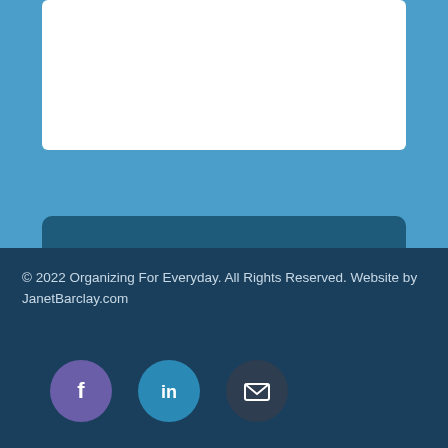Submit
© 2022 Organizing For Everyday. All Rights Reserved. Website by JanetBarclay.com
[Figure (other): Social media icons: Facebook (purple circle), LinkedIn (blue circle), Email/envelope (dark circle)]